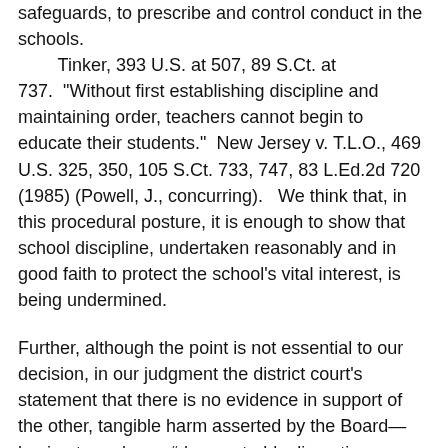safeguards, to prescribe and control conduct in the schools. Tinker, 393 U.S. at 507, 89 S.Ct. at 737. "Without first establishing discipline and maintaining order, teachers cannot begin to educate their students." New Jersey v. T.L.O., 469 U.S. 325, 350, 105 S.Ct. 733, 747, 83 L.Ed.2d 720 (1985) (Powell, J., concurring). We think that, in this procedural posture, it is enough to show that school discipline, undertaken reasonably and in good faith to protect the school's vital interest, is being undermined.
Further, although the point is not essential to our decision, in our judgment the district court's statement that there is no evidence in support of the other, tangible harm asserted by the Board—having to endure a “demonstably disruptive student”—is untenable. At the expulsion hearing, Greenfield's technology expert testified that after the article appeared the school called in computer experts to conduct four hours of diagnostic tests on the computer system. The school changed all of the passwords mentioned in the